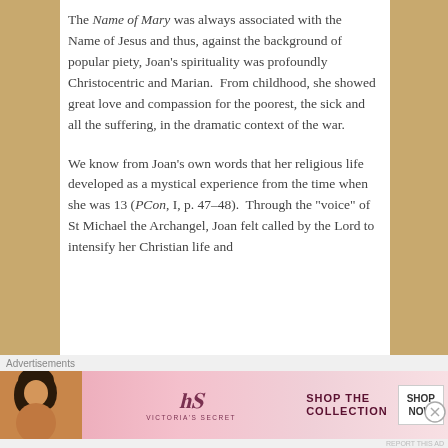The Name of Mary was always associated with the Name of Jesus and thus, against the background of popular piety, Joan's spirituality was profoundly Christocentric and Marian.  From childhood, she showed great love and compassion for the poorest, the sick and all the suffering, in the dramatic context of the war.
We know from Joan's own words that her religious life developed as a mystical experience from the time when she was 13 (PCon, I, p. 47-48).  Through the "voice" of St Michael the Archangel, Joan felt called by the Lord to intensify her Christian life and...
Advertisements
[Figure (other): Victoria's Secret advertisement banner with woman photo on left, VS logo, SHOP THE COLLECTION text, and SHOP NOW button]